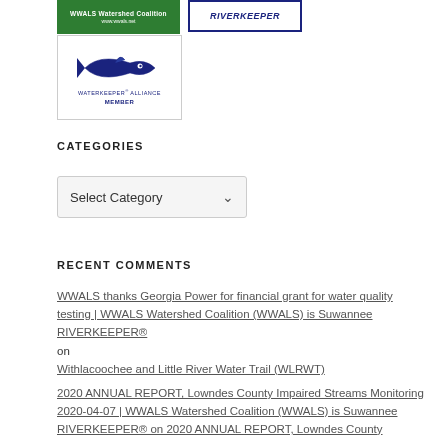[Figure (logo): WWALS Watershed Coalition logo - green background with white text]
[Figure (logo): RIVERKEEPER logo - blue border with blue italic text]
[Figure (logo): Waterkeeper Alliance Member logo - fish illustration with blue text]
CATEGORIES
[Figure (screenshot): Select Category dropdown box]
RECENT COMMENTS
WWALS thanks Georgia Power for financial grant for water quality testing | WWALS Watershed Coalition (WWALS) is Suwannee RIVERKEEPER® on Withlacoochee and Little River Water Trail (WLRWT)
2020 ANNUAL REPORT, Lowndes County Impaired Streams Monitoring 2020-04-07 | WWALS Watershed Coalition (WWALS) is Suwannee RIVERKEEPER® on 2020 ANNUAL REPORT, Lowndes County